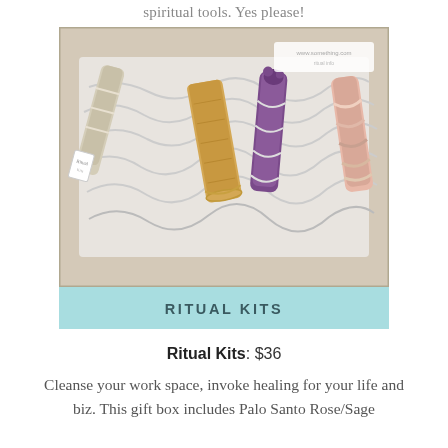spiritual tools. Yes please!
[Figure (photo): A gift box containing ritual kit items: Palo Santo sticks, sage bundles (white and purple/lavender), and a rose sage bundle, arranged in white crinkle paper packing material, with a small branded tag visible.]
RITUAL KITS
Ritual Kits: $36
Cleanse your work space, invoke healing for your life and biz. This gift box includes Palo Santo Rose/Sage